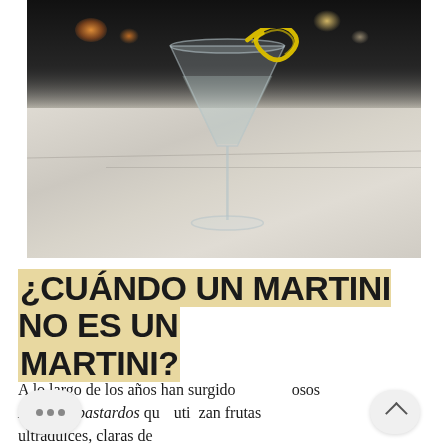[Figure (photo): A cocktail martini glass with a lemon peel garnish sitting on a white marble bar surface, with a dark background and warm bokeh lights]
¿CUÁNDO UN MARTINI NO ES UN MARTINI?
A lo largo de los años han surgido ...osos Martinis bastardos qu... utizan frutas ultradulces, claras de